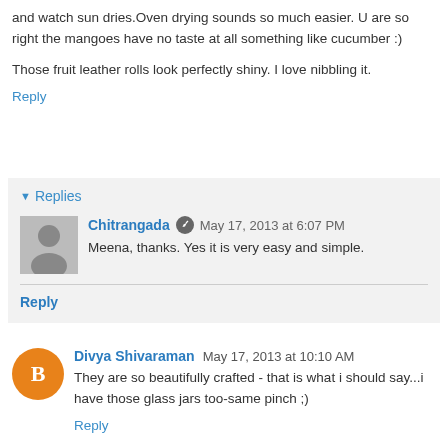and watch sun dries.Oven drying sounds so much easier. U are so right the mangoes have no taste at all something like cucumber :)
Those fruit leather rolls look perfectly shiny. I love nibbling it.
Reply
Replies
Chitrangada  May 17, 2013 at 6:07 PM
Meena, thanks. Yes it is very easy and simple.
Reply
Divya Shivaraman  May 17, 2013 at 10:10 AM
They are so beautifully crafted - that is what i should say...i have those glass jars too-same pinch ;)
Reply